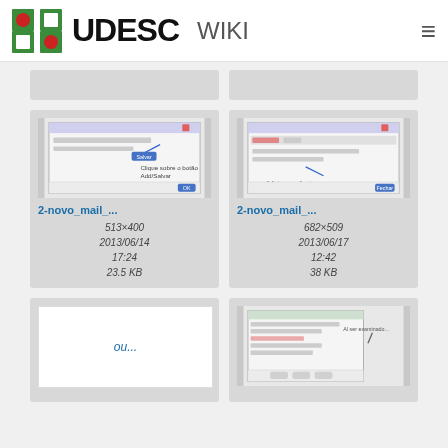UDESC WIKI
[Figure (screenshot): UDESC Wiki page showing a gallery of image thumbnails with file metadata. Two rows of image cards are visible. The middle row shows two screenshots labeled '2-novo_mail_...' with dimensions 513×400 (23.5 KB, 2013/06/14 17:24) and 682×509 (38 KB, 2013/06/17 12:42). A bottom row shows an 'ou...' placeholder card and another screenshot thumbnail.]
2-novo_mail_... 513×400 2013/06/14 17:24 23.5 KB
2-novo_mail_... 682×509 2013/06/17 12:42 38 KB